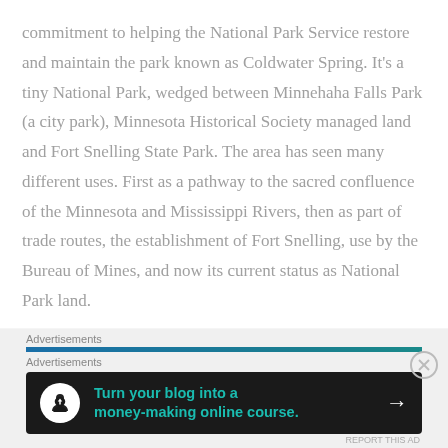commitment to helping the National Park Service restore and maintain the park known as Coldwater Spring. It's a tiny National Park, wedged between Minnehaha Falls Park (a city park), Minnesota Historical Society managed land and Fort Snelling State Park. The area has seen many different uses. First as a pathway to the sacred confluence of the Minnesota and Mississippi Rivers, then as part of trade routes, the establishment of Fort Snelling, use by the Bureau of Mines, and now its current status as National Park land.
Advertisements
[Figure (other): Advertisements banner with blue-teal gradient bar and close button]
Advertisements
[Figure (other): Ad banner: dark background with white circle icon (person/tree), teal text 'Turn your blog into a money-making online course.' and white arrow]